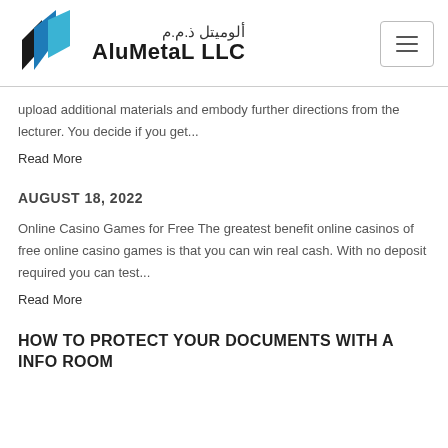[Figure (logo): AluMetal LLC logo with Arabic text and geometric blue/dark icon]
upload additional materials and embody further directions from the lecturer. You decide if you get...
Read More
AUGUST 18, 2022
Online Casino Games for Free The greatest benefit online casinos of free online casino games is that you can win real cash. With no deposit required you can test...
Read More
HOW TO PROTECT YOUR DOCUMENTS WITH A INFO ROOM